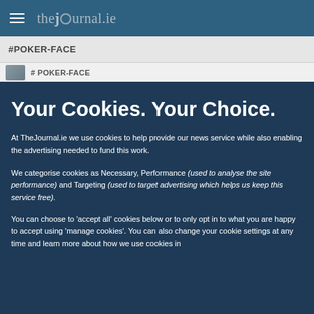thejournal.ie
#POKER-FACE
# POKER-FACE
Your Cookies. Your Choice.
At TheJournal.ie we use cookies to help provide our news service while also enabling the advertising needed to fund this work.
We categorise cookies as Necessary, Performance (used to analyse the site performance) and Targeting (used to target advertising which helps us keep this service free).
You can choose to 'accept all' cookies below or to only opt in to what you are happy to accept using 'manage cookies'. You can also change your cookie settings at any time and learn more about how we use cookies in